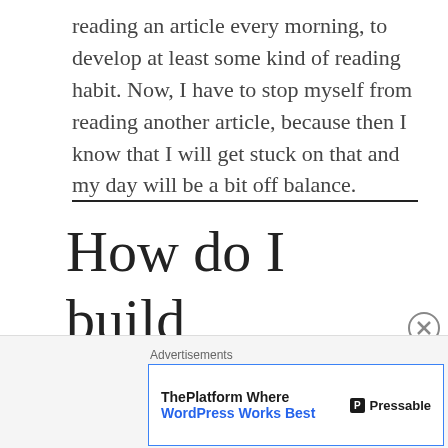reading an article every morning, to develop at least some kind of reading habit. Now, I have to stop myself from reading another article, because then I know that I will get stuck on that and my day will be a bit off balance.
How do I build my routine?
I can't tell you what you should do in your routine
Advertisements
ThePlatform Where WordPress Works Best  Pressable